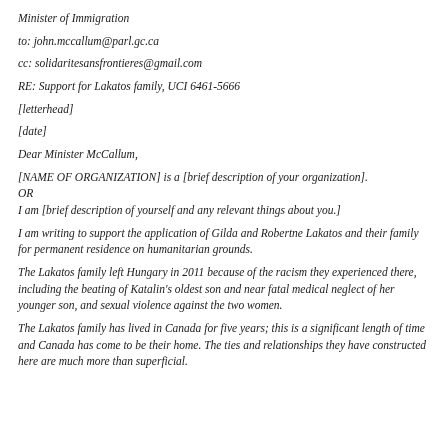Minister of Immigration
to: john.mccallum@parl.gc.ca
cc: solidaritesansfrontieres@gmail.com
RE: Support for Lakatos family, UCI 6461-5666
[letterhead]
[date]
Dear Minister McCallum,
[NAME OF ORGANIZATION] is a [brief description of your organization].
OR
I am [brief description of yourself and any relevant things about you.]
I am writing to support the application of Gilda and Robertne Lakatos and their family for permanent residence on humanitarian grounds.
The Lakatos family left Hungary in 2011 because of the racism they experienced there, including the beating of Katalin's oldest son and near fatal medical neglect of her younger son, and sexual violence against the two women.
The Lakatos family has lived in Canada for five years; this is a significant length of time and Canada has come to be their home. The ties and relationships they have constructed here are m…